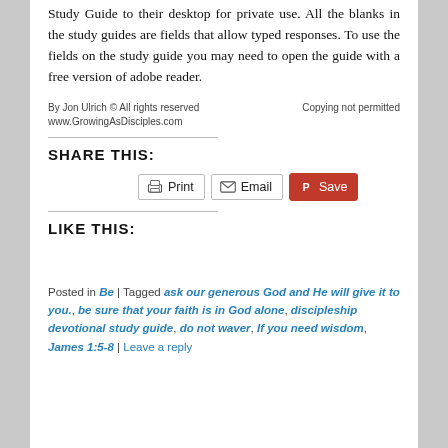Study Guide to their desktop for private use. All the blanks in the study guides are fields that allow typed responses. To use the fields on the study guide you may need to open the guide with a free version of adobe reader.
By Jon Ulrich © All rights reserved    Copying not permitted
www.GrowingAsDisciples.com
SHARE THIS:
[Figure (other): Print, Email, and Save (Pinterest) sharing buttons]
LIKE THIS:
Posted in Be | Tagged ask our generous God and He will give it to you., be sure that your faith is in God alone, discipleship devotional study guide, do not waver, If you need wisdom, James 1:5-8 | Leave a reply